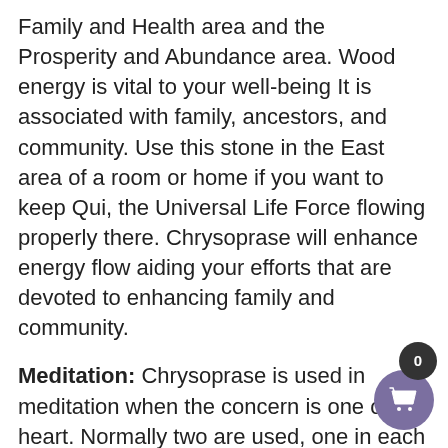Family and Health area and the Prosperity and Abundance area. Wood energy is vital to your well-being It is associated with family, ancestors, and community. Use this stone in the East area of a room or home if you want to keep Qui, the Universal Life Force flowing properly there. Chrysoprase will enhance energy flow aiding your efforts that are devoted to enhancing family and community.
Meditation: Chrysoprase is used in meditation when the concern is one of the heart. Normally two are used, one in each hand to connect them with the heart.
Other Information: Robert Simmons in The Book of Stones reports that Chrysoprase is a stone of the heart, used to resolve issues that are centered there. In the Encyclopedia of Crystals, Judy Hall reports it to be helpful in